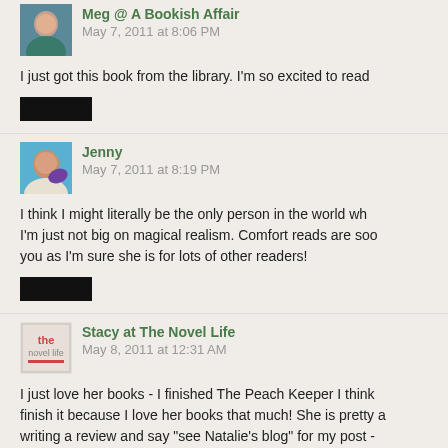Meg @ A Bookish Affair
May 7, 2011 at 8:06 PM
I just got this book from the library. I'm so excited to read
[redacted]
Jenny
May 7, 2011 at 8:19 PM
I think I might literally be the only person in the world wh... I'm just not big on magical realism. Comfort reads are soo... you as I'm sure she is for lots of other readers!
[redacted]
Stacy at The Novel Life
May 8, 2011 at 12:31 AM
I just love her books - I finished The Peach Keeper I think... finish it because I love her books that much! She is pretty a... writing a review and say "see Natalie's blog" for my post -
[redacted]